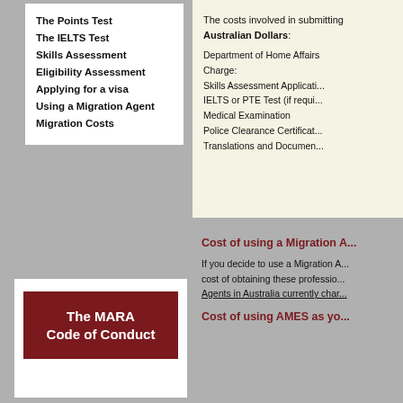The Points Test
The IELTS Test
Skills Assessment
Eligibility Assessment
Applying for a visa
Using a Migration Agent
Migration Costs
[Figure (other): Dark red button with text 'The MARA Code of Conduct']
The costs involved in submitting Australian Dollars:
Department of Home Affairs Charge:
Skills Assessment Application
IELTS or PTE Test (if required)
Medical Examination
Police Clearance Certificate
Translations and Documents
Cost of using a Migration A...
If you decide to use a Migration A... cost of obtaining these profession... Agents in Australia currently char...
Cost of using AMES as you...